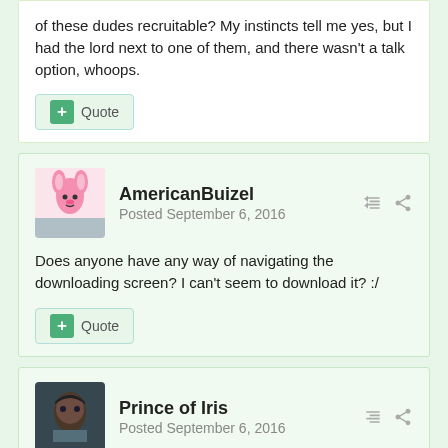of these dudes recruitable? My instincts tell me yes, but I had the lord next to one of them, and there wasn't a talk option, whoops.
+ Quote
AmericanBuizel
Posted September 6, 2016
Does anyone have any way of navigating the downloading screen? I can't seem to download it? :/
+ Quote
Prince of Iris
Posted September 6, 2016
On 9/6/2016 at 5:13 AM, Jedi said:
On the first map there seem to be 3 guys with faces (maybe 4) are of these dudes recruitable? My instincts tell me yes, but I had the lord